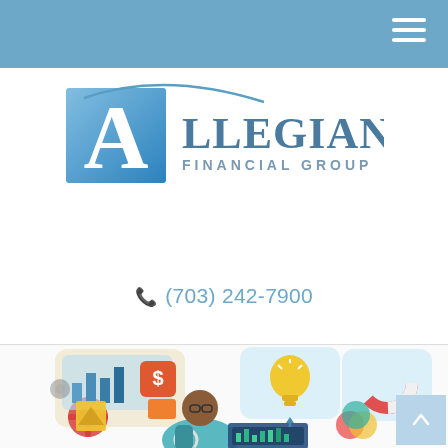Navigation bar with hamburger menu
[Figure (logo): Allegiance Financial Group logo with blue square 'A' lettermark and stylized arc above text]
(703) 242-7900
[Figure (illustration): Colorful flat-design illustration of a financial analyst at a computer surrounded by business analytics icons including gears, charts, pie charts, lightbulb, and process diagrams]